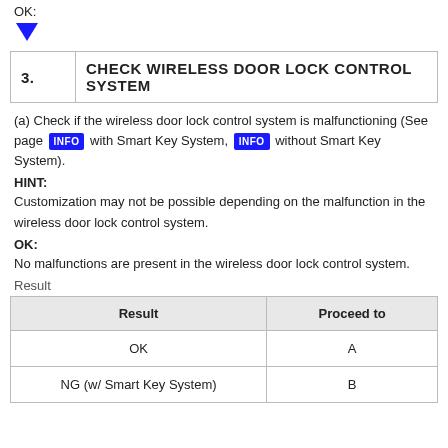OK:
[Figure (other): Blue downward-pointing triangle arrow indicator]
| 3. | CHECK WIRELESS DOOR LOCK CONTROL SYSTEM |
| --- | --- |
(a) Check if the wireless door lock control system is malfunctioning (See page INFO with Smart Key System, INFO without Smart Key System).
HINT:
Customization may not be possible depending on the malfunction in the wireless door lock control system.
OK:
No malfunctions are present in the wireless door lock control system.
Result
| Result | Proceed to |
| --- | --- |
| OK | A |
| NG (w/ Smart Key System) | B |